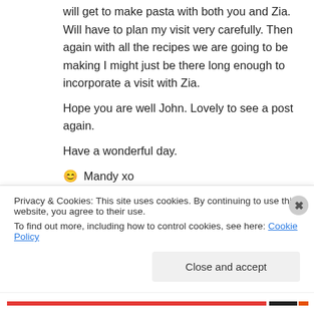will get to make pasta with both you and Zia. Will have to plan my visit very carefully. Then again with all the recipes we are going to be making I might just be there long enough to incorporate a visit with Zia.
Hope you are well John. Lovely to see a post again.
Have a wonderful day.
😊 Mandy xo
Liked by 1 person
Privacy & Cookies: This site uses cookies. By continuing to use this website, you agree to their use. To find out more, including how to control cookies, see here: Cookie Policy
Close and accept